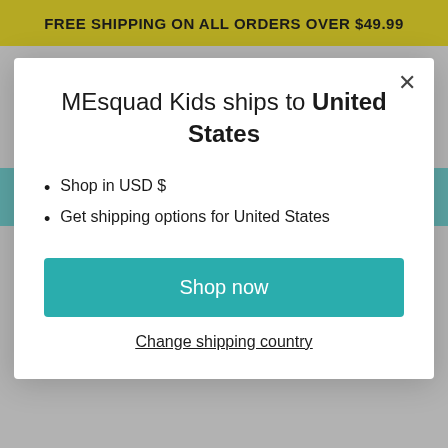FREE SHIPPING ON ALL ORDERS OVER $49.99
[Figure (screenshot): Website modal dialog showing shipping information for MEsquad Kids. Modal contains title 'MEsquad Kids ships to United States', bullet points for currency and shipping options, a teal 'Shop now' button, and a 'Change shipping country' link. Background shows a partially visible e-commerce page with a teal banner and hamburger menu.]
MEsquad Kids ships to United States
Shop in USD $
Get shipping options for United States
Shop now
Change shipping country